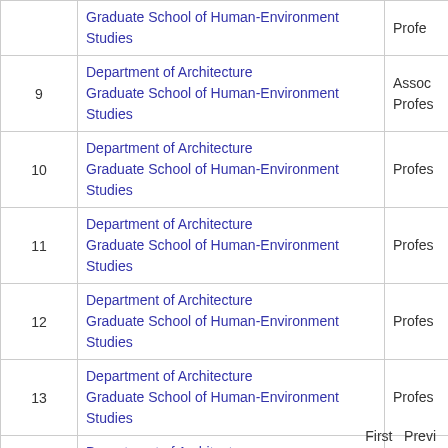| # | Department / School | Rank |
| --- | --- | --- |
|  | Graduate School of Human-Environment Studies | Profe... |
| 9 | Department of Architecture
Graduate School of Human-Environment Studies | Assoc...
Profe... |
| 10 | Department of Architecture
Graduate School of Human-Environment Studies | Profe...
Profe... |
| 11 | Department of Architecture
Graduate School of Human-Environment Studies | Profe...
Profe... |
| 12 | Department of Architecture
Graduate School of Human-Environment Studies | Profe...
Profe... |
| 13 | Department of Architecture
Graduate School of Human-Environment Studies | Profe...
Profe... |
| 14 | Department of Architecture
Graduate School of Human-Environment Studies | Profe...
Profe... |
| 15 | Department of Architecture
Graduate School of Human-Environment Studies | Profe...
Profe... |
First  Previ...